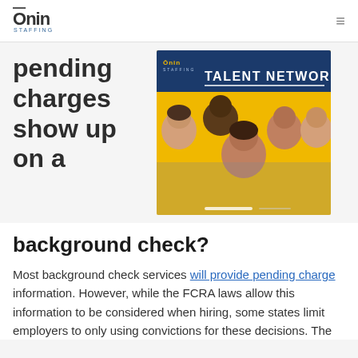Onin Staffing
pending charges show up on a
[Figure (photo): Onin Staffing Talent Network advertisement banner showing a group of five smiling diverse young people on a yellow background with blue 'TALENT NETWORK' banner.]
background check?
Most background check services will provide pending charge information. However, while the FCRA laws allow this information to be considered when hiring, some states limit employers to only using convictions for these decisions. The